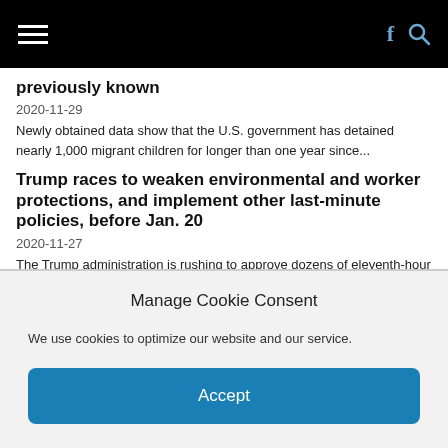previously known
2020-11-29
Newly obtained data show that the U.S. government has detained nearly 1,000 migrant children for longer than one year since...
Trump races to weaken environmental and worker protections, and implement other last-minute policies, before Jan. 20
2020-11-27
The Trump administration is rushing to approve dozens of eleventh-hour policy changes. Among them: The Justice Department is fast-tracking a...
Lawyers can't locate parents of 666 seized migrant
Manage Cookie Consent
We use cookies to optimize our website and our service.
Accept